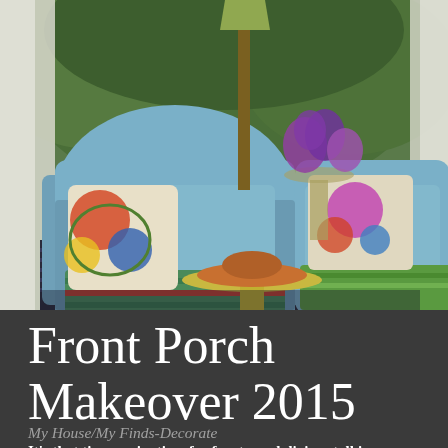[Figure (photo): Outdoor front porch scene with two blue wicker chairs with colorful floral pillows and striped cushions, a small yellow side table with a hat on top, a vase of purple flowers, a book on a blanket, and lush green garden background with white curtains]
Front Porch Makeover 2015
My House/My Finds-Decorate
It's that time again, time for front porch living: talking